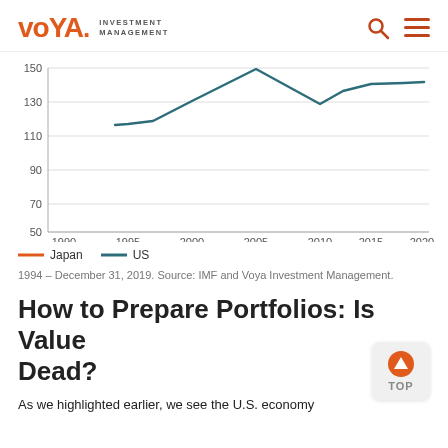Voya Investment Management
[Figure (line-chart): Line chart showing data from 1990 to 2020, with y-axis from 50 to 150. Two series: Japan (orange line, not visible in cropped portion) and US (dark teal line). US line starts around 115 in 1994-1995, rises to about 150 by 2005, dips around 2010, then stabilizes near 140-150 through 2020.]
1994 – December 31, 2019. Source: IMF and Voya Investment Management.
How to Prepare Portfolios: Is Value Dead?
As we highlighted earlier, we see the U.S. economy